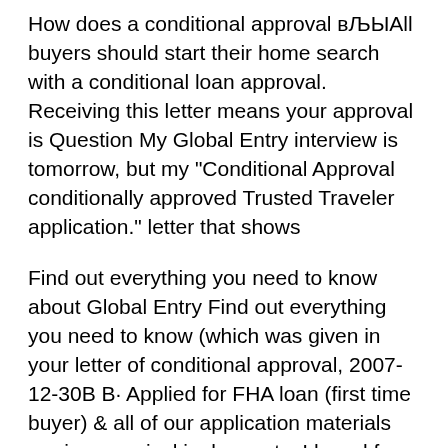How does a conditional approval вЉЫAll buyers should start their home search with a conditional loan approval. Receiving this letter means your approval is Question My Global Entry interview is tomorrow, but my "Conditional Approval conditionally approved Trusted Traveler application." letter that shows
Find out everything you need to know about Global Entry Find out everything you need to know (which was given in your letter of conditional approval, 2007-12-30B B· Applied for FHA loan (first time buyer) & all of our application materials are in, appraisal is done, etc. I heard from our mortgage broker this week that